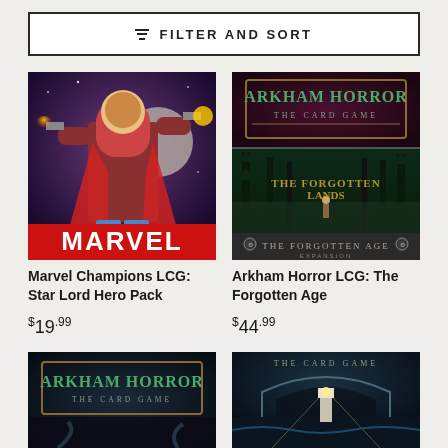FILTER AND SORT
[Figure (illustration): Marvel Champions LCG: Star Lord Hero Pack product image showing Star Lord shooting guns against a space background with MARVEL text]
Marvel Champions LCG: Star Lord Hero Pack
$19.99
[Figure (illustration): Arkham Horror LCG: The Forgotten Age expansion product image showing dark forest scene with THE FORGOTTEN AGE text]
Arkham Horror LCG: The Forgotten Age
$44.99
[Figure (illustration): Arkham Horror The Card Game product image - partially visible at bottom]
[Figure (illustration): Arkham Horror The Card Game product image - partially visible at bottom right, showing lighthouse scene]